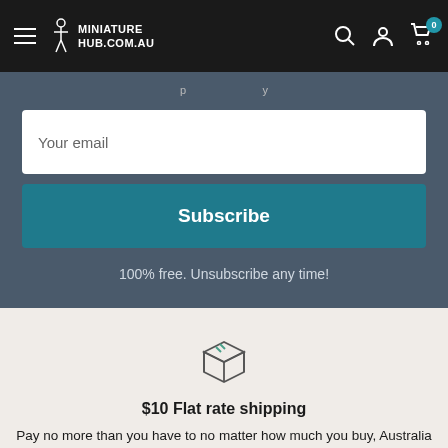MINIATURE HUB.COM.AU
Your email
Subscribe
100% free. Unsubscribe any time!
[Figure (illustration): Box/package icon outline drawing]
$10 Flat rate shipping
Pay no more than you have to no matter how much you buy, Australia wide.